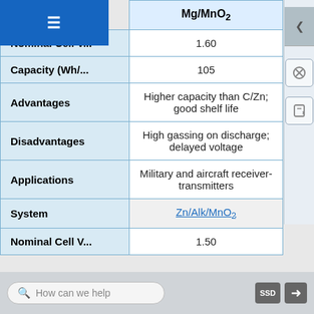| System | Mg/MnO₂ |
| --- | --- |
| Nominal Cell V... | 1.60 |
| Capacity (Wh/... | 105 |
| Advantages | Higher capacity than C/Zn; good shelf life |
| Disadvantages | High gassing on discharge; delayed voltage |
| Applications | Military and aircraft receiver-transmitters |
| System | Zn/Alk/MnO₂ |
| Nominal Cell V... | 1.50 |